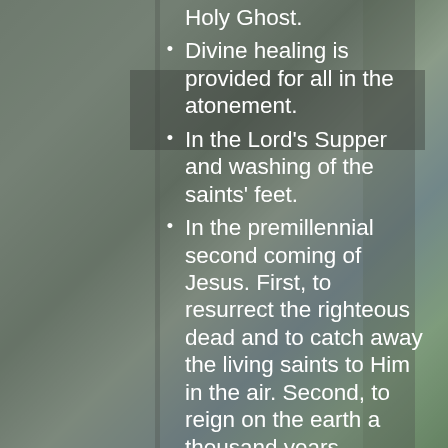Holy Ghost.
Divine healing is provided for all in the atonement.
In the Lord's Supper and washing of the saints' feet.
In the premillennial second coming of Jesus. First, to resurrect the righteous dead and to catch away the living saints to Him in the air. Second, to reign on the earth a thousand years.
In the bodily resurrection; eternal life for the righteous, and eternal punishment...